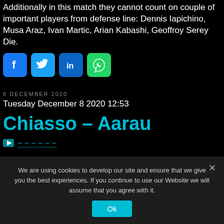Additionally in this match they cannot count on couple of important players from defense line: Dennis Iapichino, Musa Araz, Ivan Martic, Arian Kabashi, Geoffroy Serey Die.
[Figure (infographic): Social media share buttons: Facebook, Twitter, LinkedIn, WhatsApp]
8 DECEMBER 2020
Tuesday December 8 2020 12:53
Chiasso – Aarau
[Figure (infographic): Next article icon with dashed-underline text link]
We are using cookies to develop our site and ensure that we give you the best experiences. If you continue to use our Website we will assume that you agree with it.